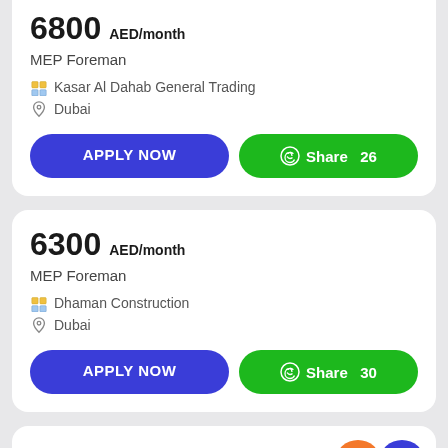6800 AED/month
MEP Foreman
Kasar Al Dahab General Trading
Dubai
APPLY NOW
Share 26
6300 AED/month
MEP Foreman
Dhaman Construction
Dubai
APPLY NOW
Share 30